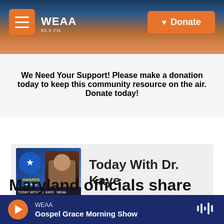WEAA | Donate
We Need Your Support! Please make a donation today to keep this community resource on the air. Donate today!
[Figure (other): Show card for Today With Dr. Kaye featuring host photo and awards badge]
Today With Dr. Kaye
Maryland officials share
WEAA Gospel Grace Morning Show